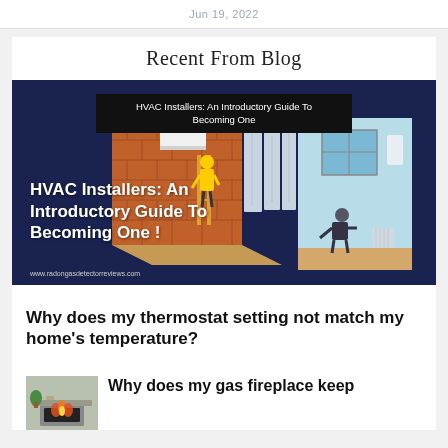Jun 19, 2022
Recent From Blog
[Figure (illustration): Blog thumbnail image showing HVAC isometric illustration with a worker installing wall-mounted unit in a brick room and another room with radiators, overlaid with bold text 'HVAC Installers: An Introductory Guide To Becoming One!' and a title bar at top. Watermark: www.radongasdetectorreviews.com]
Why does my thermostat setting not match my home's temperature?
[Figure (photo): Small thumbnail photo of a gas fireplace with plants]
Why does my gas fireplace keep